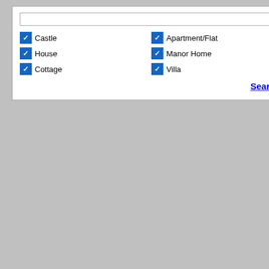Castle
Apartment/Flat
House
Manor Home
Cottage
Villa
Search
for outdoor meals.
Very popular with honeymooners.  Parking
THE ESTATE GROUNDS
The gardens are beautiful.  There are many plants and deep borders that change with the home to swans, heron, ducks,  geese and a dovecote and a Doomsday watermill dati village church, with its ancient graveyard, is
The outdoor pool, heated in July and Augus daylight hours with a quiet time set aside e or "shy" guests to enjoy the pool in relative weather tennis court, croquet, table tennis  (adults only, please).
Children are warmly welcomed here.  Spec special attention.  Mid-week cleaning and b arranged with advance notice at an additio pub will cater meals for you with advance n not allowed.  Smoking is not allowed in the smoking guests are preferred.
WEDDINGS:
This is a beautiful property for a wedding. by the lake.  Guests can stroll amid the 15 Garden Scheme gardens.  You can use yo people, photographers and caterers or the for you.  For weddings, you have to take a main house plus the Coach House, Courty Stables.   These are all close together.  Wa Flat can be booked also, of course.   There Please contact us for more information.